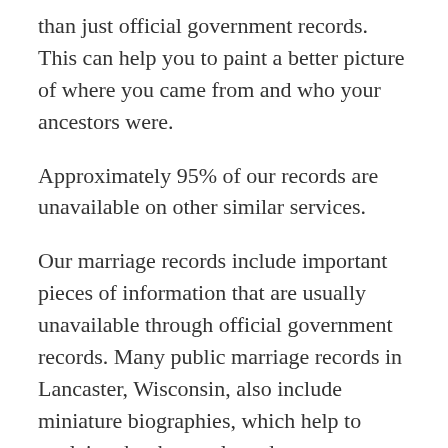than just official government records. This can help you to paint a better picture of where you came from and who your ancestors were.
Approximately 95% of our records are unavailable on other similar services.
Our marriage records include important pieces of information that are usually unavailable through official government records. Many public marriage records in Lancaster, Wisconsin, also include miniature biographies, which help to explain who the newlyweds are.
Other valuable information that can be extracted from marriage records include